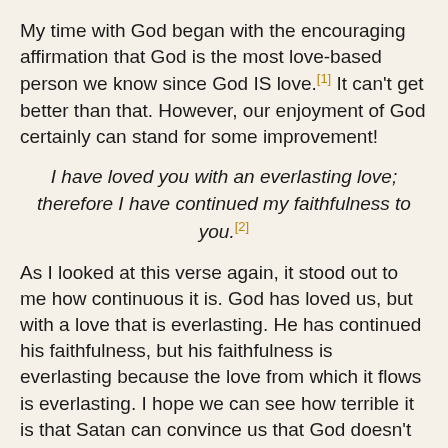My time with God began with the encouraging affirmation that God is the most love-based person we know since God IS love.[1] It can't get better than that. However, our enjoyment of God certainly can stand for some improvement!
I have loved you with an everlasting love; therefore I have continued my faithfulness to you.[2]
As I looked at this verse again, it stood out to me how continuous it is. God has loved us, but with a love that is everlasting. He has continued his faithfulness, but his faithfulness is everlasting because the love from which it flows is everlasting. I hope we can see how terrible it is that Satan can convince us that God doesn't love us. The wounds need healing, and as soon as possible!
Then it became clear that God is not faithful in loving